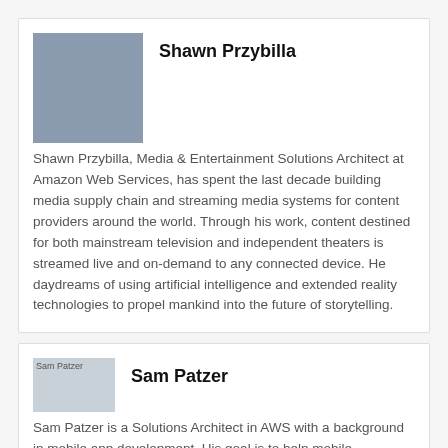[Figure (photo): Headshot photo of Shawn Przybilla]
Shawn Przybilla
Shawn Przybilla, Media & Entertainment Solutions Architect at Amazon Web Services, has spent the last decade building media supply chain and streaming media systems for content providers around the world. Through his work, content destined for both mainstream television and independent theaters is streamed live and on-demand to any connected device. He daydreams of using artificial intelligence and extended reality technologies to propel mankind into the future of storytelling.
[Figure (photo): Headshot photo of Sam Patzer]
Sam Patzer
Sam Patzer is a Solutions Architect in AWS with a background in mobile app development. His goal is to help mobile developers, large and small, create the next big mobile app by enabling them to get started quickly.